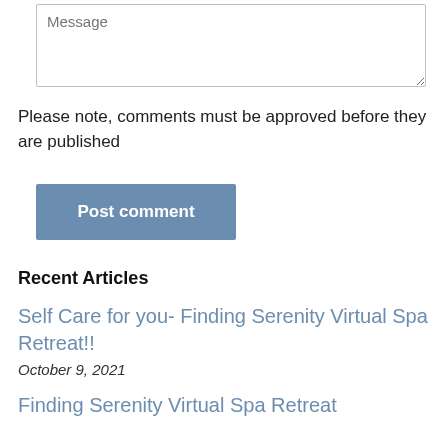Message
Please note, comments must be approved before they are published
Post comment
Recent Articles
Self Care for you- Finding Serenity Virtual Spa Retreat!!
October 9, 2021
Finding Serenity Virtual Spa Retreat